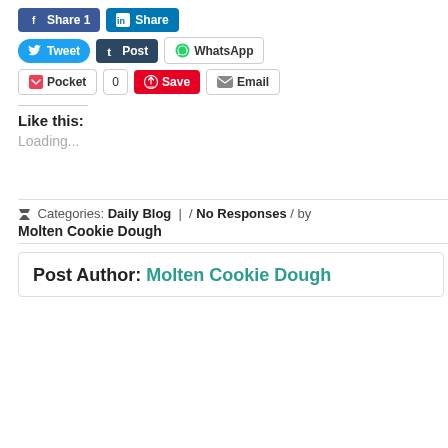[Figure (screenshot): Social sharing buttons: Facebook Share 1, LinkedIn Share]
[Figure (screenshot): Social sharing buttons row 2: Tweet, Post (Tumblr), WhatsApp]
[Figure (screenshot): Social sharing buttons row 3: Pocket, count 0, Save (Pinterest), Email]
Like this:
Loading...
Categories: Daily Blog | / No Responses / by
Molten Cookie Dough
Post Author: Molten Cookie Dough